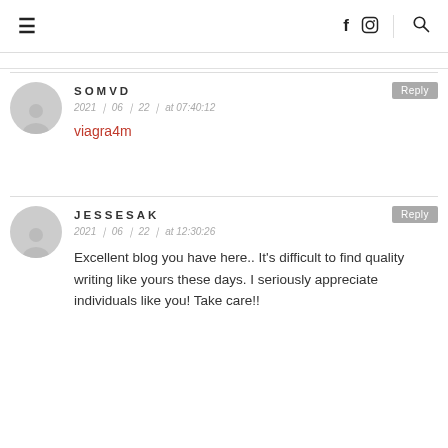≡  f  ☷  🔍
SOMVD
2021 ▸ 06 ▸ 22 ▸ at 07:40:12
viagra4m
JESSESAK
2021 ▸ 06 ▸ 22 ▸ at 12:30:26
Excellent blog you have here.. It's difficult to find quality writing like yours these days. I seriously appreciate individuals like you! Take care!!